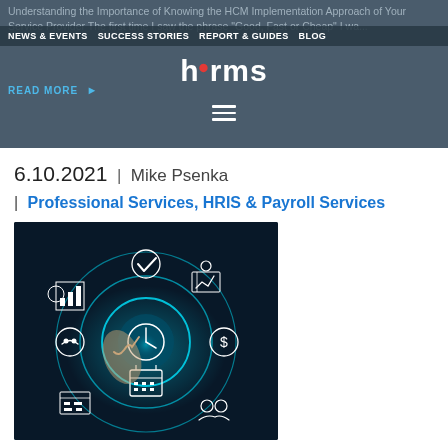NEWS & EVENTS  SUCCESS STORIES  REPORT & GUIDES  BLOG
Understanding the Importance of Knowing the HCM Implementation Approach of Your Service Provider The first time I saw the phrase "Good, Fast or Cheap" I wa...
READ MORE ▶
hrms
6.10.2021  | Mike Psenka
| Professional Services, HRIS & Payroll Services
[Figure (photo): A hand pointing at a glowing circular HCM/digital interface with icons representing analytics, scheduling, payroll, HR management, and other business functions on a dark blue background.]